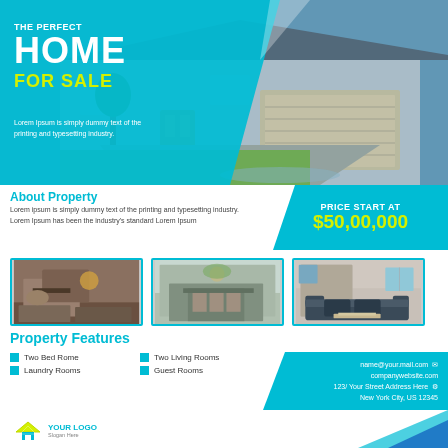THE PERFECT HOME FOR SALE
Lorem Ipsum is simply dummy text of the printing and typesetting industry.
About Property
Lorem ipsum is simply dummy text of the printing and typesetting industry. Lorem Ipsum has been the industry's standard Lorem Ipsum
[Figure (other): Price start at box: $50,00,000]
[Figure (photo): Interior bedroom photo]
[Figure (photo): Interior dining room photo]
[Figure (photo): Interior living room photo]
Property Features
Two Bed Rome
Two Living Rooms
Laundry Rooms
Guest Rooms
name@your.mail.com
companywebsite.com
123/ Your Street Address Here
New York City, US 12345
[Figure (logo): YOUR LOGO - Slogan Here]